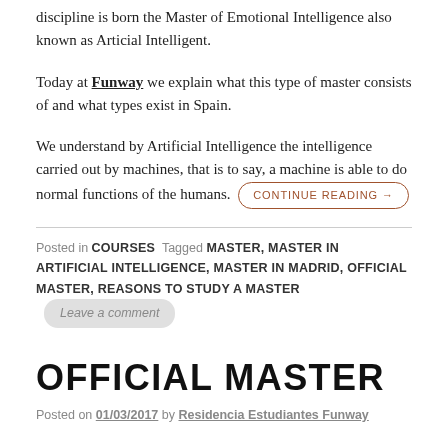discipline is born the Master of Emotional Intelligence also known as Articial Intelligent.
Today at Funway we explain what this type of master consists of and what types exist in Spain.
We understand by Artificial Intelligence the intelligence carried out by machines, that is to say, a machine is able to do normal functions of the humans. CONTINUE READING →
Posted in COURSES Tagged MASTER, MASTER IN ARTIFICIAL INTELLIGENCE, MASTER IN MADRID, OFFICIAL MASTER, REASONS TO STUDY A MASTER Leave a comment
OFFICIAL MASTER
Posted on 01/03/2017 by Residencia Estudiantes Funway